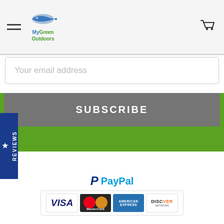[Figure (screenshot): MyGreenOutdoors website header navigation bar with hamburger menu, logo, and cart icon]
Your email address
SUBSCRIBE
★ REVIEWS
[Figure (logo): MyGreenOutdoors logo centered on page]
[Figure (logo): PayPal logo with VISA, MasterCard, American Express, Discover payment card icons]